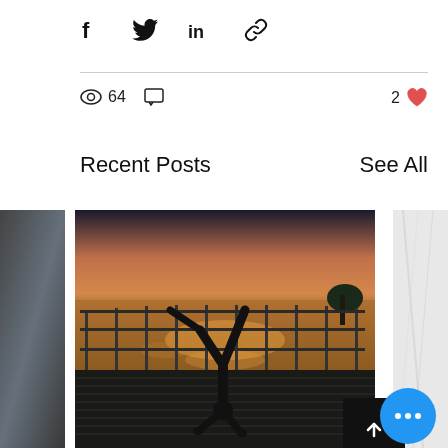[Figure (infographic): Social share bar with Facebook, Twitter, LinkedIn, and link icons]
64 views, 0 comments, 2 likes
Recent Posts
See All
[Figure (photo): Silhouette of a person doing a handstand on a deck by a waterfront at sunset with orange/gold light on the water]
Hip Hip Hooray! Part Two
70 views, 0 comments, 4 likes